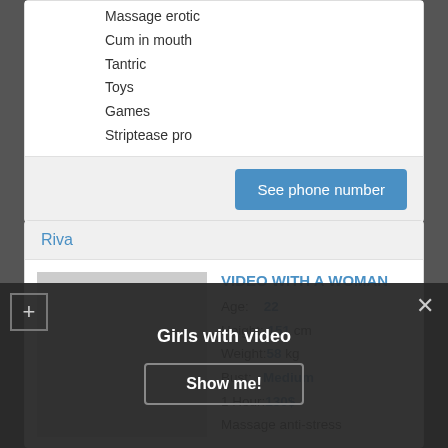Massage erotic
Cum in mouth
Tantric
Toys
Games
Striptease pro
See phone number
Riva
VIDEO WITH A WOMAN
Age: 22
Height: 151 cm
Weight: 58 kg
Bust: Medium
1 Hour: 130$
Massage anti-stress
Girls with video
Show me!